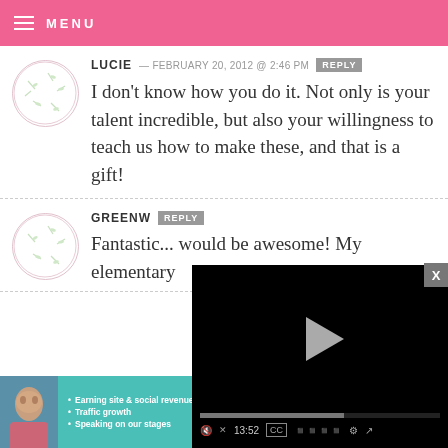MENU
LUCIE — FEBRUARY 20, 2012 @ 2:46 PM
I don't know how you do it. Not only is your talent incredible, but also your willingness to teach us how to make these, and that is a gift!
GREENW... REPLY
Fantastic... would be awesome! My elementary
[Figure (screenshot): Video player overlay showing black video with play button, progress bar at 13:52, and controls including mute, CC, grid, settings, and fullscreen buttons]
[Figure (infographic): SHE Partner Network advertisement banner with photo, bullets: Earning site & social revenue, Traffic growth, Speaking on our stages, and Learn More button]